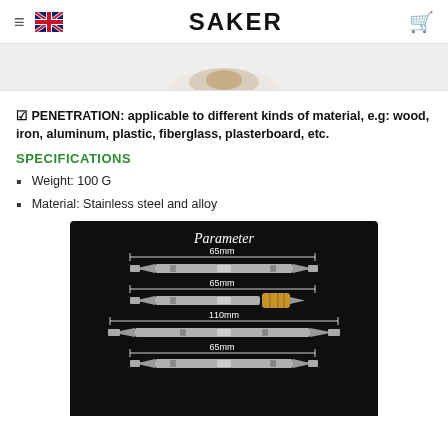SAKER
[Figure (photo): Partial product image visible at the top, cropped.]
✓ PENETRATION: applicable to different kinds of material, e.g: wood, iron, aluminum, plastic, fiberglass, plasterboard, etc.
SPECIFICATIONS
Weight: 100 G
Material: Stainless steel and alloy
[Figure (infographic): Parameter diagram showing screwdriver bits with measurements: 65mm double-ended bit, 65mm bit with gold magnetic ring, 110mm long bit, and 65mm bit. Black background with white text labels.]